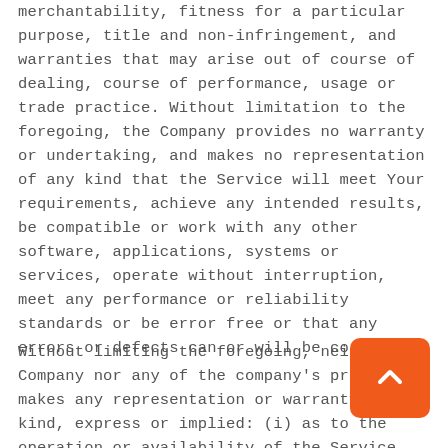merchantability, fitness for a particular purpose, title and non-infringement, and warranties that may arise out of course of dealing, course of performance, usage or trade practice. Without limitation to the foregoing, the Company provides no warranty or undertaking, and makes no representation of any kind that the Service will meet Your requirements, achieve any intended results, be compatible or work with any other software, applications, systems or services, operate without interruption, meet any performance or reliability standards or be error free or that any errors or defects can or will be corrected.
Without limiting the foregoing, neither the Company nor any of the company's provider makes any representation or warranty of any kind, express or implied: (i) as to the operation or availability of the Service, or the information, content, and materials or products included thereon; (ii) that the Service be uninterrupted or error-free; (iii) as to the accuracy, reliability,